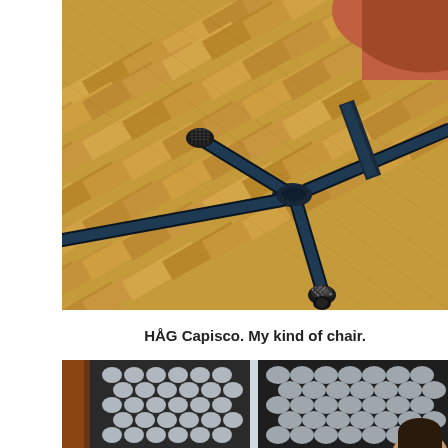[Figure (photo): Close-up photo of an office chair base showing black star-shaped legs with casters on a herringbone wood floor, with a brown/red leather seat cushion visible at the top right. Chair legs appear dark blue/black metallic.]
HÅG Capisco. My kind of chair.
[Figure (photo): Partial photo showing mesh or grid-patterned panels/screens in black with diamond or circular cutout patterns, on a light blue/white background. A person's head is partially visible at the bottom right.]